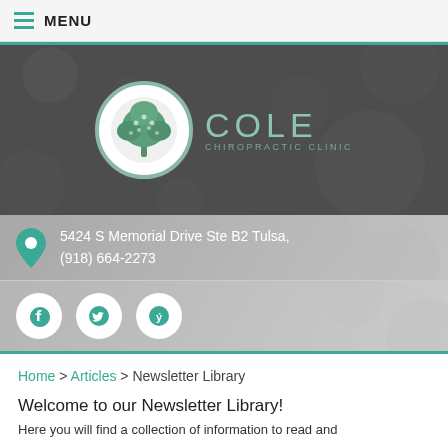MENU
[Figure (logo): Cole Chiropractic Clinic logo — tree inside a circle on dark background with clinic name]
5424 S Memorial Drive Ste B2 Tulsa, (918) 664-2273
[Figure (infographic): Social media icons: Facebook, Twitter, Yelp]
Home > Articles > Newsletter Library
Welcome to our Newsletter Library!
Here you will find a collection of information...